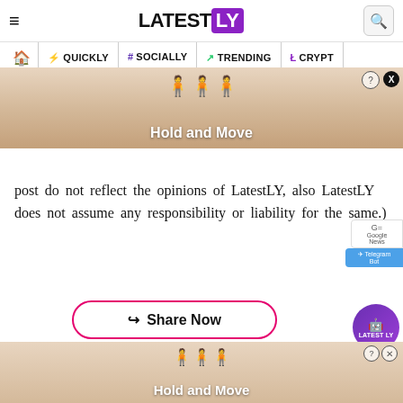LATESTLY — navigation: QUICKLY, SOCIALLY, TRENDING, CRYPTO
[Figure (screenshot): Advertisement banner showing 'Hold and Move' game with blue stick figures on a wooden lane background]
post do not reflect the opinions of LatestLY, also LatestLY does not assume any responsibility or liability for the same.)
Share Now